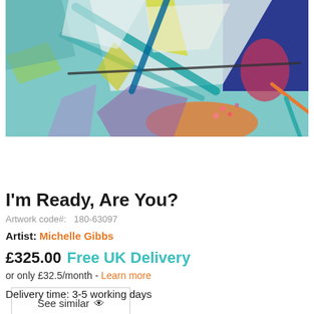[Figure (illustration): Abstract colorful painting with teal, blue, yellow, purple, pink and orange brushstrokes forming a loosely geometric abstract composition]
See similar 👁
I'm Ready, Are You?
Artwork code#:  180-63097
Artist: Michelle Gibbs
£325.00 Free UK Delivery
or only £32.5/month - Learn more
Delivery time: 3-5 working days